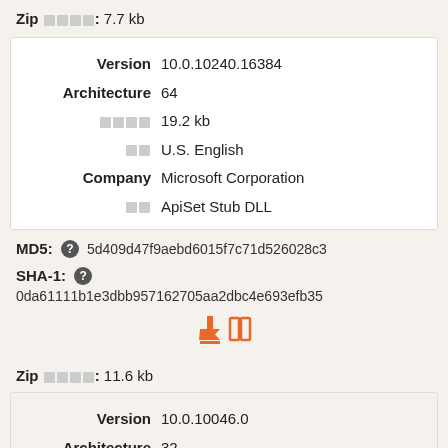Zip 文件大小: 7.7 kb
| Label | Value |
| --- | --- |
| Version | 10.0.10240.16384 |
| Architecture | 64 |
| 文件大小 | 19.2 kb |
| 语言 | U.S. English |
| Company | Microsoft Corporation |
| 描述 | ApiSet Stub DLL |
MD5: 5d409d47f9aebd6015f7c71d526028c3
SHA-1: 0da61111b1e3dbb957162705aa2dbc4e693efb35
Zip 文件大小: 11.6 kb
| Label | Value |
| --- | --- |
| Version | 10.0.10046.0 |
| Architecture | 32 |